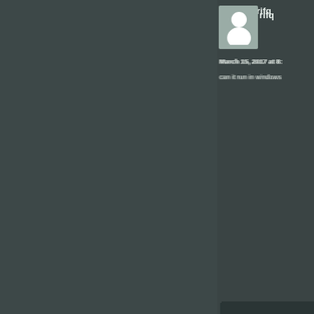[Figure (screenshot): Website comment section with dark theme. Shows user comments with avatar placeholders. First commenter username starts with 'rifq', dated March 15, 2017 at 8:xx, comment text 'can it run in windows'. A reply below dated June 4, 201x with text 'Yes'. A third comment block at bottom shows username starting with 'Ary'.]
rifq
March 15, 2017 at 8:
can it run in windows
June 4, 201
Yes
Ary